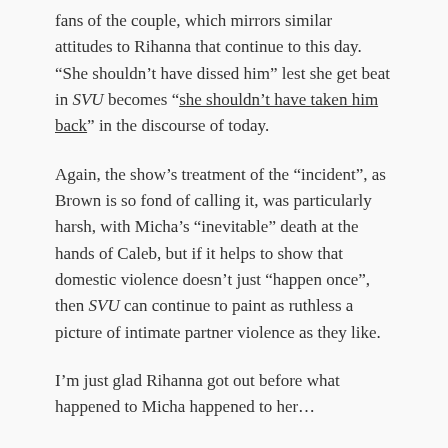fans of the couple, which mirrors similar attitudes to Rihanna that continue to this day. “She shouldn’t have dissed him” lest she get beat in SVU becomes “she shouldn’t have taken him back” in the discourse of today.
Again, the show’s treatment of the “incident”, as Brown is so fond of calling it, was particularly harsh, with Micha’s “inevitable” death at the hands of Caleb, but if it helps to show that domestic violence doesn’t just “happen once”, then SVU can continue to paint as ruthless a picture of intimate partner violence as they like.
I’m just glad Rihanna got out before what happened to Micha happened to her…
Related: Rihanna & Domestic Violence.
My Thoughts on Chris Brown.